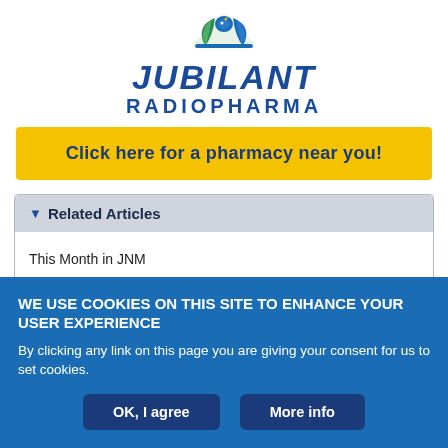[Figure (logo): Jubilant Radiopharma logo with blue/green bird-like icon and blue italic JUBILANT text and RADIOPHARMA subtitle]
Click here for a pharmacy near you!
Related Articles
This Month in JNM
PubMed   Google Scholar
WE USE COOKIES ON THIS SITE TO ENHANCE YOUR USER EXPERIENCE
By clicking any link on this page you are giving your consent for us to set cookies.
OK, I agree
More info